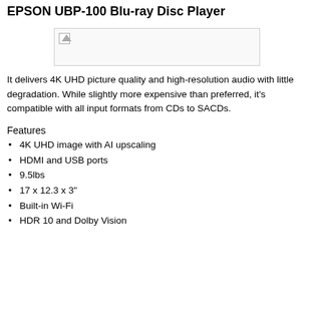EPSON UBP-100 Blu-ray Disc Player
[Figure (photo): Product image placeholder for EPSON UBP-100 Blu-ray Disc Player]
It delivers 4K UHD picture quality and high-resolution audio with little degradation. While slightly more expensive than preferred, it's compatible with all input formats from CDs to SACDs.
Features
4K UHD image with AI upscaling
HDMI and USB ports
9.5lbs
17 x 12.3 x 3"
Built-in Wi-Fi
HDR 10 and Dolby Vision